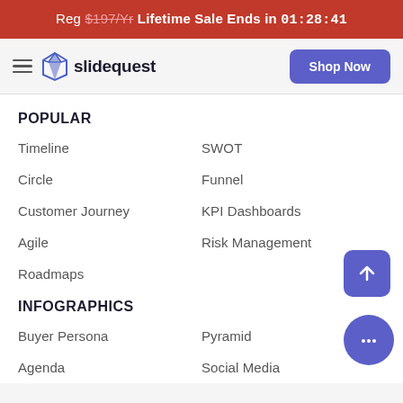Reg $197/Yr Lifetime Sale Ends in 01:28:41
slidequest  Shop Now
POPULAR
Timeline
SWOT
Circle
Funnel
Customer Journey
KPI Dashboards
Agile
Risk Management
Roadmaps
INFOGRAPHICS
Buyer Persona
Pyramid
Agenda
Social Media